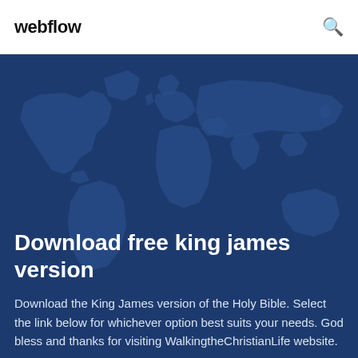webflow
[Figure (illustration): World map silhouette on dark blue background used as hero section backdrop]
Download free king james version
Download the King James version of the Holy Bible. Select the link below for whichever option best suits your needs. God bless and thanks for visiting WalkingtheChristianLife website.